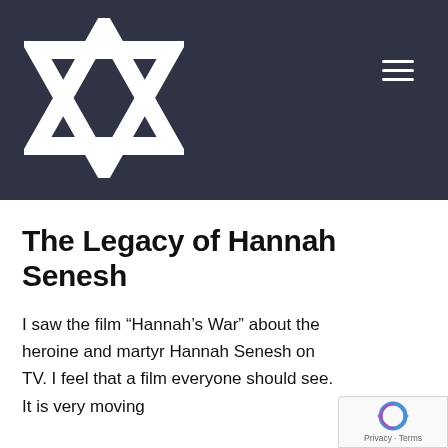[Figure (logo): Star of David symbol in white on dark navy/charcoal background, used as website logo in header]
The Legacy of Hannah Senesh
I saw the film “Hannah’s War” about the heroine and martyr Hannah Senesh on TV. I feel that a film everyone should see. It is very moving